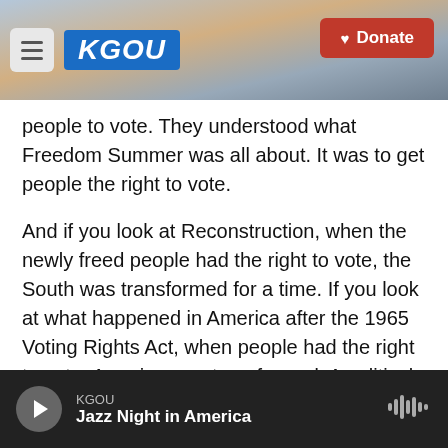[Figure (screenshot): KGOU radio website header banner with hamburger menu, KGOU logo, and red Donate button, over a cityscape background photo]
people to vote. They understood what Freedom Summer was all about. It was to get people the right to vote.
And if you look at Reconstruction, when the newly freed people had the right to vote, the South was transformed for a time. If you look at what happened in America after the 1965 Voting Rights Act, when people had the right to vote, America was transformed. A political and racial apartheid system was torn down as a result of the 1965 Voting Rights Act. And that's all connected to people having the ability to decide the direction of
KGOU — Jazz Night in America